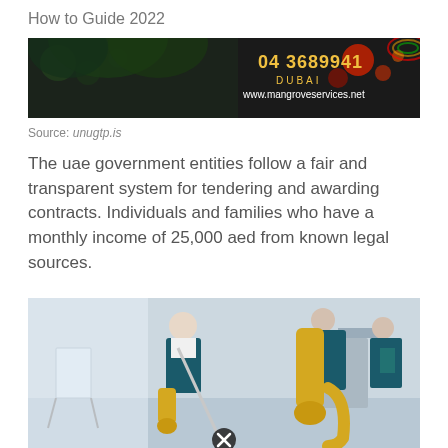How to Guide 2022
[Figure (photo): Advertisement banner image with dark background showing colorful decorations and text: 04 3689941 DUBAI www.mangroveservices.net]
Source: unugtp.is
The uae government entities follow a fair and transparent system for tendering and awarding contracts. Individuals and families who have a monthly income of 25,000 aed from known legal sources.
[Figure (photo): Photo of cleaning service workers in blue uniforms and yellow gloves mopping and cleaning an office space. A circular close button icon is visible at the bottom center.]